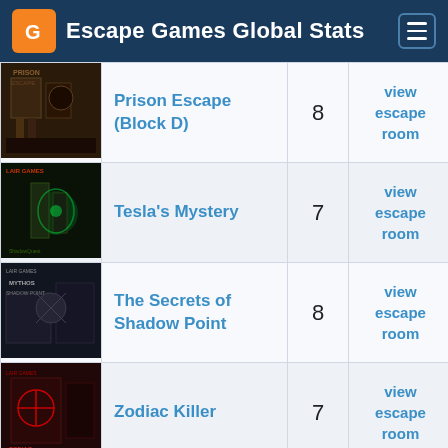Escape Games Global Stats
| Image | Game Name | Rating | Action |
| --- | --- | --- | --- |
| [Prison Escape image] | Prison Escape (Block D) | 8 | view escape room |
| [Tesla's Mystery image] | Tesla's Mystery | 7 | view escape room |
| [Shadow Point image] | The Secrets of Shadow Point | 8 | view escape room |
| [Zodiac Killer image] | Zodiac Killer | 7 | view escape room |